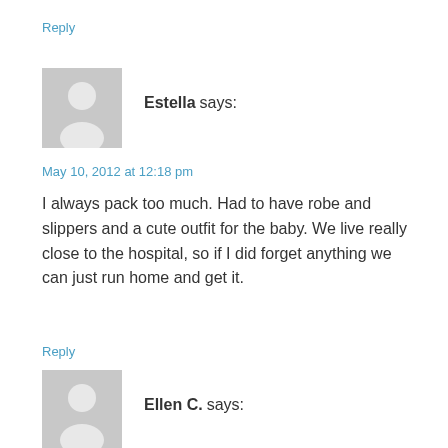Reply
Estella says:
May 10, 2012 at 12:18 pm
I always pack too much. Had to have robe and slippers and a cute outfit for the baby. We live really close to the hospital, so if I did forget anything we can just run home and get it.
Reply
Ellen C. says: